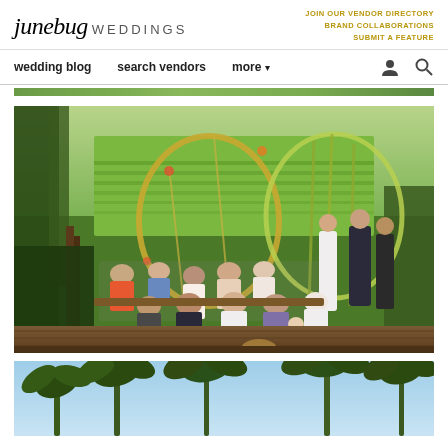junebug WEDDINGS | JOIN OUR VENDOR DIRECTORY | BRAND COLLABORATIONS | SUBMIT A FEATURE
wedding blog  search vendors  more
[Figure (photo): Thin partial strip of a green outdoor landscape photo at the top of the page]
[Figure (photo): Outdoor wedding ceremony in Bali with a lush green rice terrace backdrop. Guests are seated on wooden benches on a wooden deck, facing a couple at an altar decorated with two large circular floral arches. Tropical trees and greenery surround the scene.]
[Figure (photo): Partial bottom photo showing tropical palm trees against a blue sky, hinting at another outdoor Bali setting.]